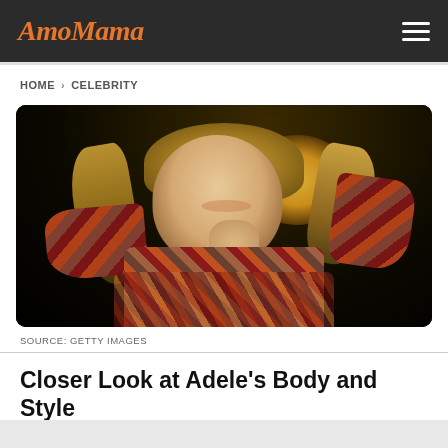AmoMama
HOME > CELEBRITY
[Figure (photo): Woman with blonde hair smiling, wearing a colorful patterned dress, against a dark background with a bright light behind her.]
SOURCE: GETTY IMAGES
Closer Look at Adele's Body and Style